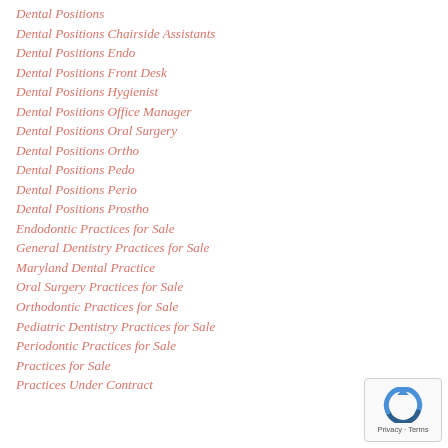Dental Positions
Dental Positions Chairside Assistants
Dental Positions Endo
Dental Positions Front Desk
Dental Positions Hygienist
Dental Positions Office Manager
Dental Positions Oral Surgery
Dental Positions Ortho
Dental Positions Pedo
Dental Positions Perio
Dental Positions Prostho
Endodontic Practices for Sale
General Dentistry Practices for Sale
Maryland Dental Practice
Oral Surgery Practices for Sale
Orthodontic Practices for Sale
Pediatric Dentistry Practices for Sale
Periodontic Practices for Sale
Practices for Sale
Practices Under Contract
[Figure (logo): reCAPTCHA badge with privacy and terms link]